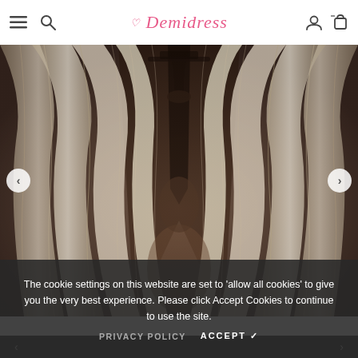Demidress — navigation bar with hamburger menu, search, logo, user account, and cart icons
[Figure (photo): Symmetrical close-up photo of white/cream sheer fabric or bridal veil draped in flowing curtain-like folds, with dark structural elements visible in the center background. The fabric cascades from top to bottom in a V-shape pattern.]
The cookie settings on this website are set to 'allow all cookies' to give you the very best experience. Please click Accept Cookies to continue to use the site.
PRIVACY POLICY   ACCEPT ✓